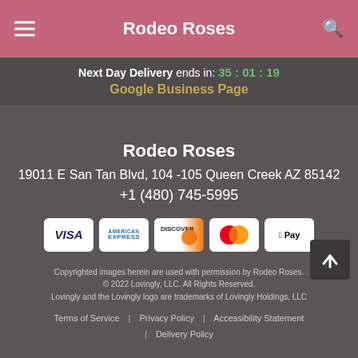Rodeo Roses
Next Day Delivery ends in: 35 : 01 : 19
Google Business Page
Rodeo Roses
19011 E San Tan Blvd, 104 -105 Queen Creek AZ 85142
+1 (480) 745-5995
[Figure (other): Payment method icons: Visa, American Express, Discover, Mastercard, Apple Pay]
Copyrighted images herein are used with permission by Rodeo Roses. © 2022 Lovingly, LLC. All Rights Reserved. Lovingly and the Lovingly logo are trademarks of Lovingly Holdings, LLC
Terms of Service | Privacy Policy | Accessibility Statement | Delivery Policy